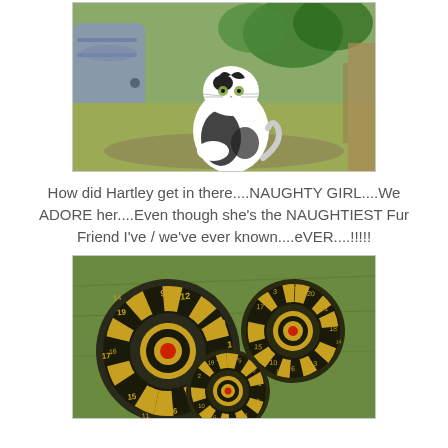[Figure (photo): A black and white cat sitting on dry grass outdoors, next to a large grey metal container, with green leafy plants in the background.]
How did Hartley get in there....NAUGHTY GIRL....We ADORE her....Even though she's the NAUGHTIEST Fur Friend I've / we've ever known....eVER....!!!!!
[Figure (photo): Three dartboards lying on grass outdoors. The dartboards are dark with yellow/gold numbered sections. The numbers 1-20 are visible around the edges of each board.]